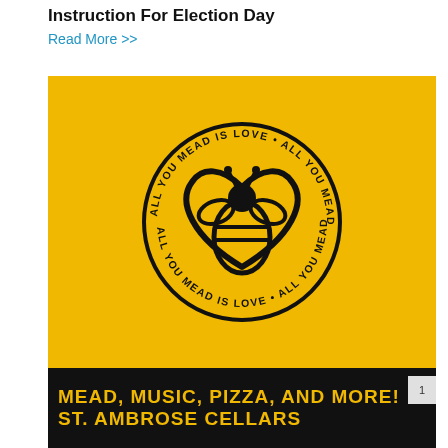Instruction For Election Day
Read More >>
[Figure (logo): Yellow square logo with a bee inside a heart shape. Text around the circle reads: ALL YOU MEAD IS LOVE • ALL YOU MEAD IS LOVE (mirrored at bottom). Below the yellow section is a black banner with yellow text: MEAD, MUSIC, PIZZA, AND MORE! ST. AMBROSE CELLARS]